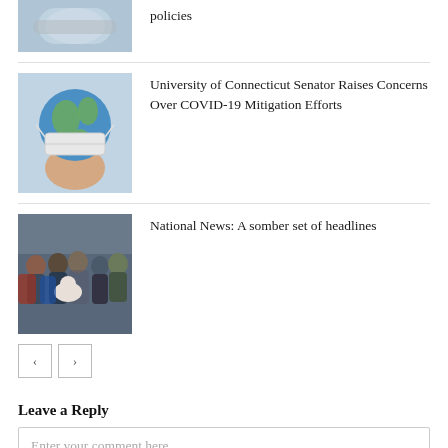[Figure (photo): Partial view of a photo showing what appears to be a mask, cropped at top of page]
policies
[Figure (photo): A globe wearing a face mask, held in hands]
University of Connecticut Senator Raises Concerns Over COVID-19 Mitigation Efforts
[Figure (photo): A group of people sitting, appearing somber]
National News: A somber set of headlines
Leave a Reply
Enter your comment here...